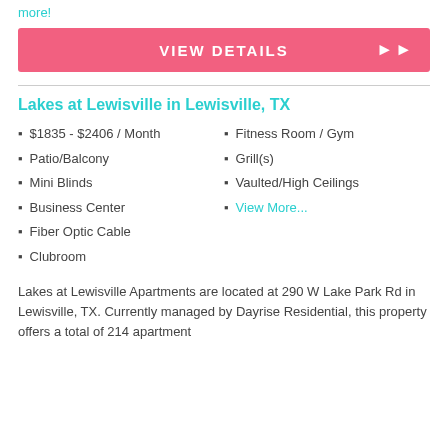more!
VIEW DETAILS
Lakes at Lewisville in Lewisville, TX
$1835 - $2406 / Month
Patio/Balcony
Mini Blinds
Business Center
Fiber Optic Cable
Clubroom
Fitness Room / Gym
Grill(s)
Vaulted/High Ceilings
View More...
Lakes at Lewisville Apartments are located at 290 W Lake Park Rd in Lewisville, TX. Currently managed by Dayrise Residential, this property offers a total of 214 apartment